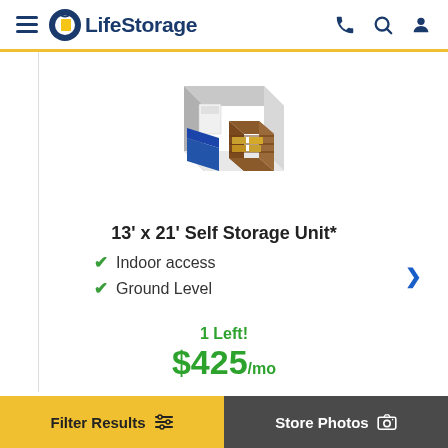LifeStorage
[Figure (illustration): Isometric illustration of a storage unit interior containing a mattress/bedding, boxes, and a bookshelf/dresser]
13' x 21' Self Storage Unit*
Indoor access
Ground Level
1 Left!
$425/mo
Filter Results  |  Store Photos